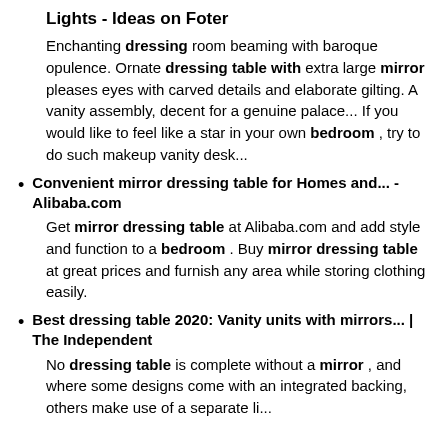Lights - Ideas on Foter
Enchanting dressing room beaming with baroque opulence. Ornate dressing table with extra large mirror pleases eyes with carved details and elaborate gilting. A vanity assembly, decent for a genuine palace... If you would like to feel like a star in your own bedroom , try to do such makeup vanity desk...
Convenient mirror dressing table for Homes and... - Alibaba.com
Get mirror dressing table at Alibaba.com and add style and function to a bedroom . Buy mirror dressing table at great prices and furnish any area while storing clothing easily.
Best dressing table 2020: Vanity units with mirrors... | The Independent
No dressing table is complete without a mirror , and where some designs come with an integrated backing, others make use of a separate li...